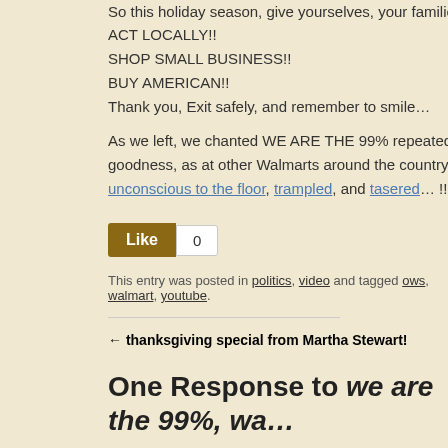So this holiday season, give yourselves, your families, and you...
ACT LOCALLY!!
SHOP SMALL BUSINESS!!
BUY AMERICAN!!
Thank you, Exit safely, and remember to smile…
As we left, we chanted WE ARE THE 99% repeatedly. The cops... goodness, as at other Walmarts around the country, people got unconscious to the floor, trampled, and tasered… !!
[Figure (other): Like button (gold/brown) with count 0]
This entry was posted in politics, video and tagged ows, walmart, youtube.
← thanksgiving special from Martha Stewart!
One Response to we are the 99%, wa...
Laura says:
Saturday, November 26, 2011 at 9:31 am at 9:31 am